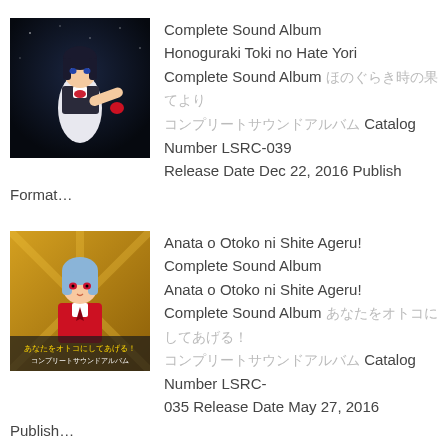[Figure (illustration): Anime-style illustration of a dark-haired character reaching out, dark atmospheric background]
Complete Sound Album Honoguraki Toki no Hate Yori Complete Sound Album [Japanese characters] Catalog Number LSRC-039 Release Date Dec 22, 2016 Publish Format…
[Figure (illustration): Anime-style illustration of a blue-haired girl in red uniform with Japanese text banner, golden background]
Anata o Otoko ni Shite Ageru! Complete Sound Album Anata o Otoko ni Shite Ageru! Complete Sound Album [Japanese characters] Catalog Number LSRC-035 Release Date May 27, 2016 Publish…